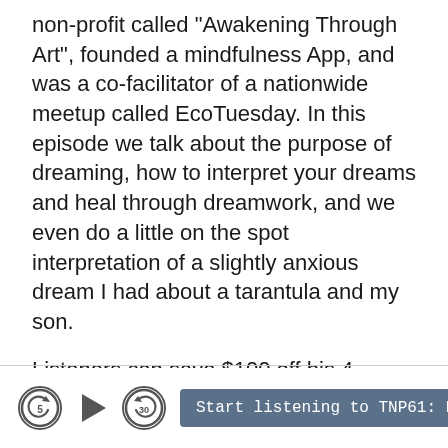non-profit called "Awakening Through Art", founded a mindfulness App, and was a co-facilitator of a nationwide meetup called EcoTuesday. In this episode we talk about the purpose of dreaming, how to interpret your dreams and heal through dreamwork, and we even do a little on the spot interpretation of a slightly anxious dream I had about a tarantula and my son.

Listeners can save $100 off his 4-Week “Get Woke In Your Dream-Time” Live Group Masterclass by using the coupon code: DREAMS333
[Figure (screenshot): Podcast player bar with skip-back 5s button, play button, skip-forward 30s button, and a gray button labeled 'Start listening to TNP61: Healin...36:08']